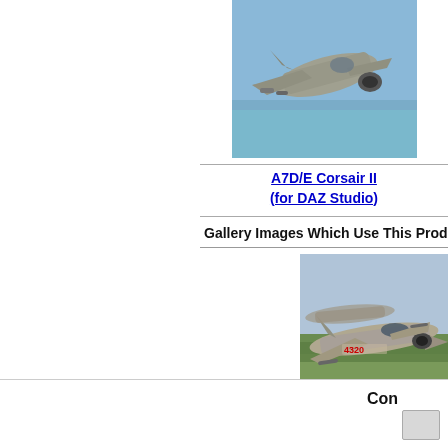[Figure (photo): A7D/E Corsair II military jet aircraft flying over water/coastline, photographed from below/side]
A7D/E Corsair II (for DAZ Studio)
Gallery Images Which Use This Product or Mo
[Figure (photo): MiG jet aircraft flying low over green terrain, painted with number 4320 on fuselage]
MiG`s Low!
Share your comments about this product on t
Con